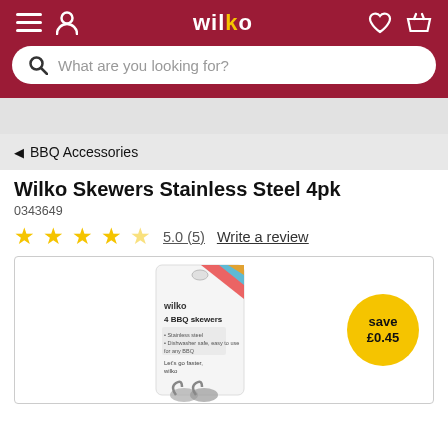wilko
What are you looking for?
◀ BBQ Accessories
Wilko Skewers Stainless Steel 4pk
0343649
5.0 (5)  Write a review
[Figure (photo): Product photo of Wilko 4 BBQ Skewers stainless steel pack with a yellow save £0.45 badge in the corner]